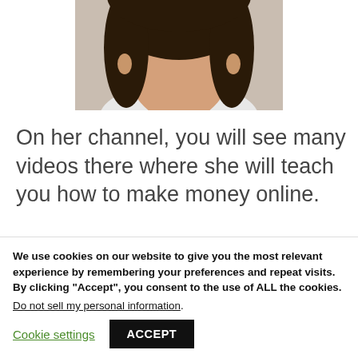[Figure (photo): Partial photo of a woman with dark hair, cropped at top of page]
On her channel, you will see many videos there where she will teach you how to make money online.
She also has a LinkedIn, and there you will
We use cookies on our website to give you the most relevant experience by remembering your preferences and repeat visits. By clicking “Accept”, you consent to the use of ALL the cookies.
Do not sell my personal information.
Cookie settings  ACCEPT